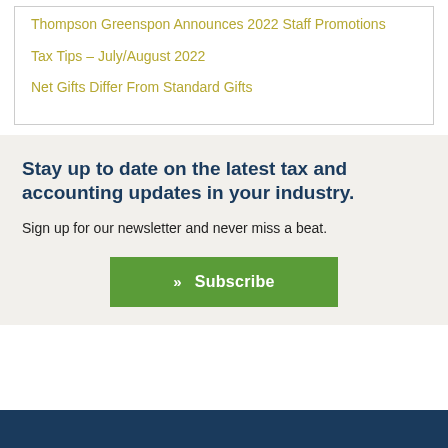Thompson Greenspon Announces 2022 Staff Promotions
Tax Tips – July/August 2022
Net Gifts Differ From Standard Gifts
Stay up to date on the latest tax and accounting updates in your industry.
Sign up for our newsletter and never miss a beat.
» Subscribe